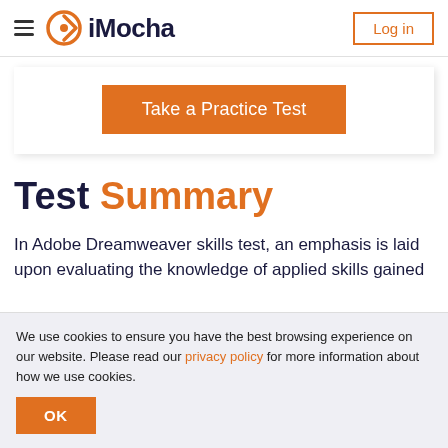iMocha — Log in
[Figure (screenshot): iMocha logo with orange circular icon and dark text]
Take a Practice Test
Test Summary
In Adobe Dreamweaver skills test, an emphasis is laid upon evaluating the knowledge of applied skills gained
We use cookies to ensure you have the best browsing experience on our website. Please read our privacy policy for more information about how we use cookies.
OK